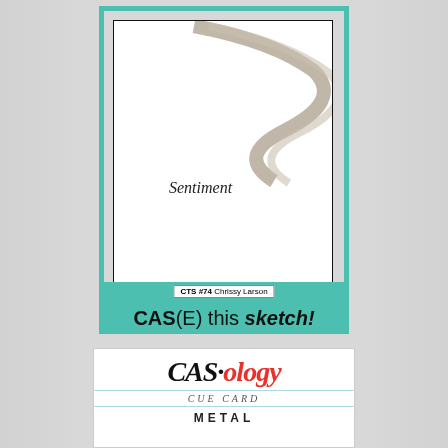[Figure (illustration): Sketch card with teal painted border, inner black border, wavy ribbon lines and 'Sentiment' text inside, CTS #74 Chrissy Larson tag, and 'CAS(E) this sketch!' banner at bottom]
[Figure (logo): CASology Cue Card box with italic serif logo text in black and red, 'CUE CARD' subtitle, and 'METAL' text at bottom]